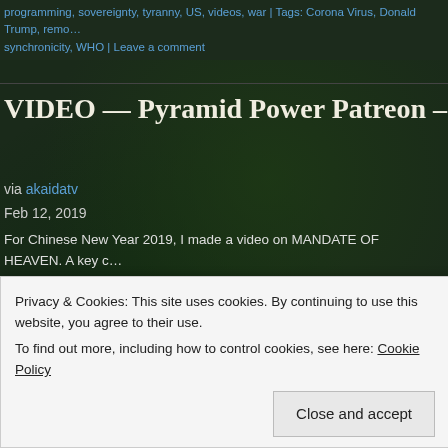programming, sovereignty, tyranny, US, videos, war | Tags: Corona Virus, Donald Trump, remo… synchronicity, WHO | Leave a comment
VIDEO — Pyramid Power Patreon – Manda…
via akaidatv
Feb 12, 2019
For Chinese New Year 2019, I made a video on MANDATE OF HEAVEN. A key c… and how it relates to thoughtforms, the cycles of civilization and the conciousness… possible from my PYRAMID POWER patrons.
[Figure (screenshot): Video thumbnail showing avatar photo of a man and the title text MASAKI ON CHINESE COSMOLOGY - MANDAT… with a blue gradient background and stone statue imagery on the right]
Privacy & Cookies: This site uses cookies. By continuing to use this website, you agree to their use.
To find out more, including how to control cookies, see here: Cookie Policy
Close and accept